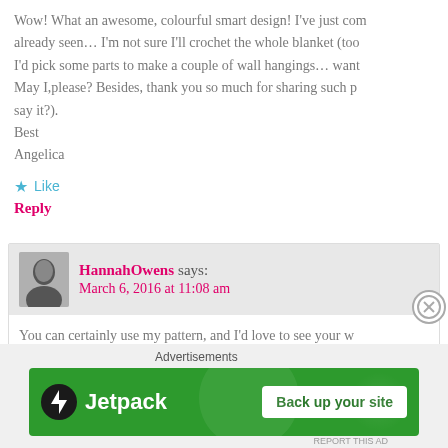Wow! What an awesome, colourful smart design! I've just com already seen… I'm not sure I'll crochet the whole blanket (too I'd pick some parts to make a couple of wall hangings… want May I,please? Besides, thank you so much for sharing such p say it?). Best Angelica
★ Like
Reply
HannahOwens says: March 6, 2016 at 11:08 am
You can certainly use my pattern, and I'd love to see your w
★ Like
Reply
[Figure (screenshot): Jetpack advertisement banner with green background, Jetpack logo on left, and 'Back up your site' white button on right]
Advertisements